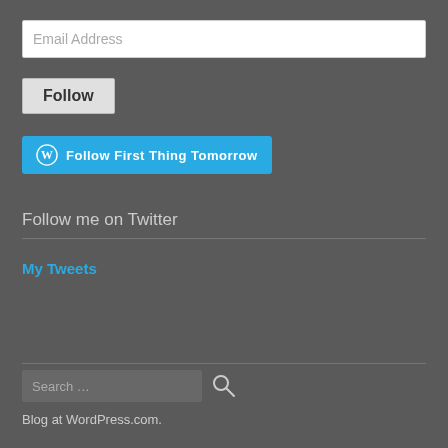Email Address
Follow
Follow First Thing Tomorrow
Follow me on Twitter
My Tweets
Search
Blog at WordPress.com.